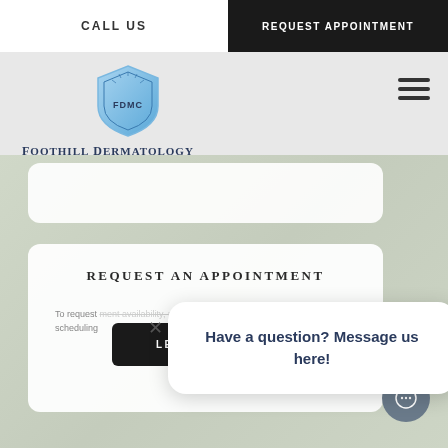CALL US
REQUEST APPOINTMENT
[Figure (logo): Foothill Dermatology Medical Center shield logo with blue gradient design and sun rays at top]
FOOTHILL DERMATOLOGY MEDICAL CENTER
REQUEST AN APPOINTMENT
To request ment availability, please click here. Our scheduling
Have a question? Message us here!
LEARN MORE